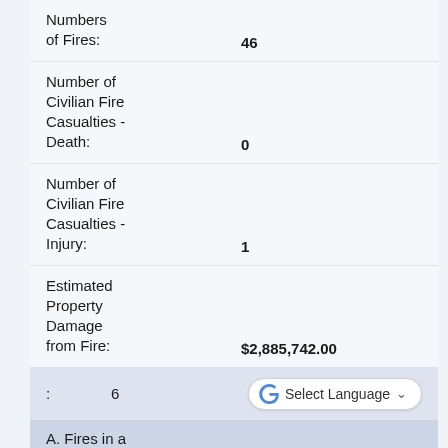| Field | Value |
| --- | --- |
| Numbers of Fires: | 46 |
| Number of Civilian Fire Casualties - Death: | 0 |
| Number of Civilian Fire Casualties - Injury: | 1 |
| Estimated Property Damage from Fire: | $2,885,742.00 |
| : | 6 |
| A. Fires in a |  |